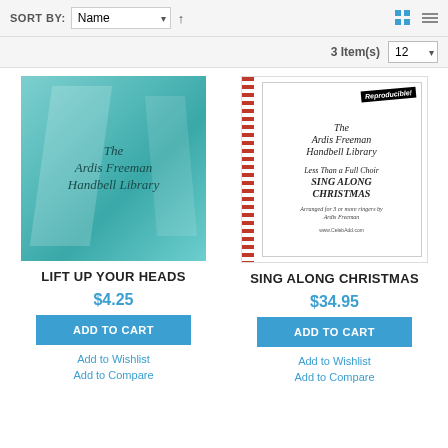SORT BY: Name | 3 Item(s) | 12 per page
[Figure (photo): Teal/blue-green abstract book cover for 'The Ardis Freeman Handbell Library - Lift Up Your Heads']
LIFT UP YOUR HEADS
$4.25
ADD TO CART
Add to Wishlist
Add to Compare
[Figure (photo): White book cover with red spiral binding for 'The Ardis Freeman Handbell Library - Less Than a Full Choir Sing Along Christmas', marked Reproducible]
SING ALONG CHRISTMAS
$34.95
ADD TO CART
Add to Wishlist
Add to Compare